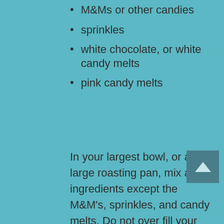M&Ms or other candies
sprinkles
white chocolate, or white candy melts
pink candy melts
In your largest bowl, or a large roasting pan, mix all ingredients except the M&M's, sprinkles, and candy melts. Do not over fill your dish, you will need room to toss the ingredients together.
Melt white candy melts (or white chocolate) in a microwave safe dish (at 50% power) in 30 second intervals until almost melted. Stir until completely melted and smooth. Pour